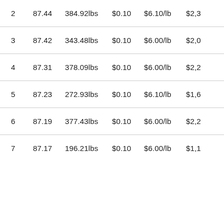| # | Val1 | Weight | Price1 | Price2 | Total |
| --- | --- | --- | --- | --- | --- |
| 2 | 87.44 | 384.92lbs | $0.10 | $6.10/lb | $2,3… |
| 3 | 87.42 | 343.48lbs | $0.10 | $6.00/lb | $2,0… |
| 4 | 87.31 | 378.09lbs | $0.10 | $6.00/lb | $2,2… |
| 5 | 87.23 | 272.93lbs | $0.10 | $6.10/lb | $1,6… |
| 6 | 87.19 | 377.43lbs | $0.10 | $6.00/lb | $2,2… |
| 7 | 87.17 | 196.21lbs | $0.10 | $6.00/lb | $1,1… |